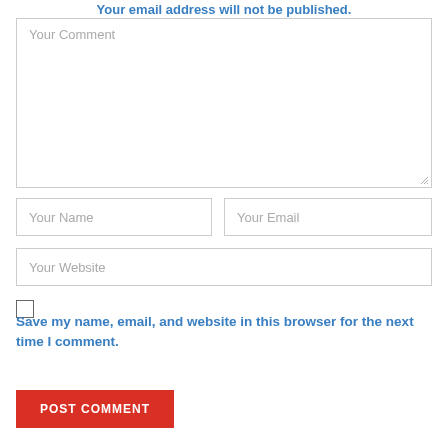Your email address will not be published.
[Figure (screenshot): Comment form with fields: Your Comment (textarea), Your Name, Your Email, Your Website, a checkbox with label 'Save my name, email, and website in this browser for the next time I comment.', and a POST COMMENT button.]